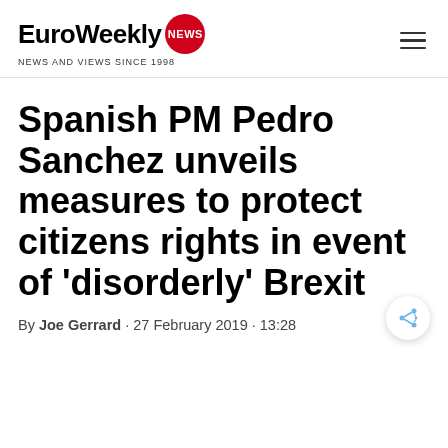EuroWeekly NEWS · NEWS AND VIEWS SINCE 1998
Spanish PM Pedro Sanchez unveils measures to protect citizens rights in event of 'disorderly' Brexit
By Joe Gerrard · 27 February 2019 · 13:28